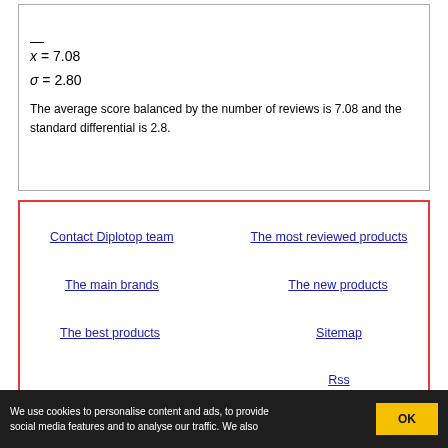Statistical data :
The average score balanced by the number of reviews is 7.08 and the standard differential is 2.8.
Contact Diplotop team
The most reviewed products
The main brands
The new products
The best products
Sitemap
Rss
References starting with letter A
We use cookies to personalise content and ads, to provide social media features and to analyse our traffic. We also